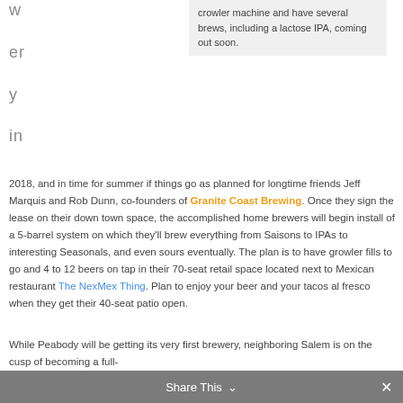w
er
y
in
crowler machine and have several brews, including a lactose IPA, coming out soon.
2018, and in time for summer if things go as planned for longtime friends Jeff Marquis and Rob Dunn, co-founders of Granite Coast Brewing. Once they sign the lease on their down town space, the accomplished home brewers will begin install of a 5-barrel system on which they'll brew everything from Saisons to IPAs to interesting Seasonals, and even sours eventually. The plan is to have growler fills to go and 4 to 12 beers on tap in their 70-seat retail space located next to Mexican restaurant The NexMex Thing. Plan to enjoy your beer and your tacos al fresco when they get their 40-seat patio open.
While Peabody will be getting its very first brewery, neighboring Salem is on the cusp of becoming a full-
Share This